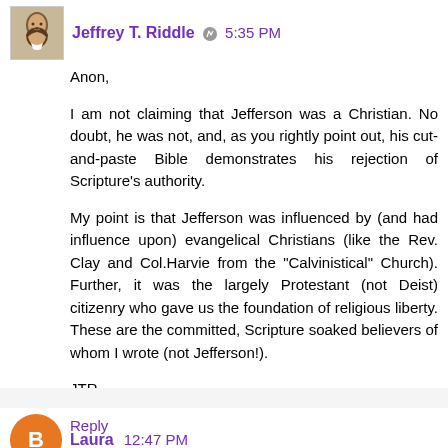Jeffrey T. Riddle  5:35 PM
Anon,

I am not claiming that Jefferson was a Christian. No doubt, he was not, and, as you rightly point out, his cut-and-paste Bible demonstrates his rejection of Scripture's authority.

My point is that Jefferson was influenced by (and had influence upon) evangelical Christians (like the Rev. Clay and Col.Harvie from the "Calvinistical" Church). Further, it was the largely Protestant (not Deist) citizenry who gave us the foundation of religious liberty. These are the committed, Scripture soaked believers of whom I wrote (not Jefferson!).

JTR
Reply
Laura  12:47 PM
Is the Rev Charles Clay the same Charles Clay who was born 1715 and died 1789 and was married to Martha Carr?